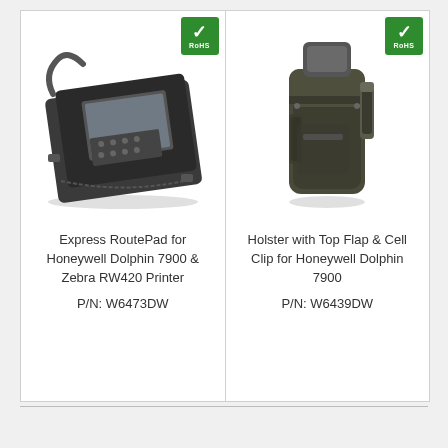[Figure (photo): Express RoutePad carrying case for Honeywell Dolphin 7900 and Zebra RW420 Printer — a black padded case shown open with device inserted, with RoHS compliance badge]
Express RoutePad for Honeywell Dolphin 7900 & Zebra RW420 Printer
P/N: W6473DW
[Figure (photo): Holster with Top Flap and Cell Clip for Honeywell Dolphin 7900 — a dark olive/black holster shown upright with device inside, with RoHS compliance badge]
Holster with Top Flap & Cell Clip for Honeywell Dolphin 7900
P/N: W6439DW